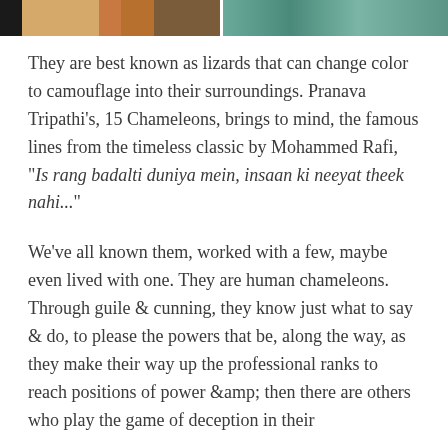[Figure (photo): Partial photo strip at top: left portion shows a person in light clothing with wooden/amber colored background panels; right portion shows a green-toned outdoor or nature scene.]
They are best known as lizards that can change color to camouflage into their surroundings. Pranava Tripathi's, 15 Chameleons, brings to mind, the famous lines from the timeless classic by Mohammed Rafi, "Is rang badalti duniya mein, insaan ki neeyat theek nahi..."
We've all known them, worked with a few, maybe even lived with one. They are human chameleons. Through guile & cunning, they know just what to say & do, to please the powers that be, along the way, as they make their way up the professional ranks to reach positions of power &amp; then there are others who play the game of deception in their